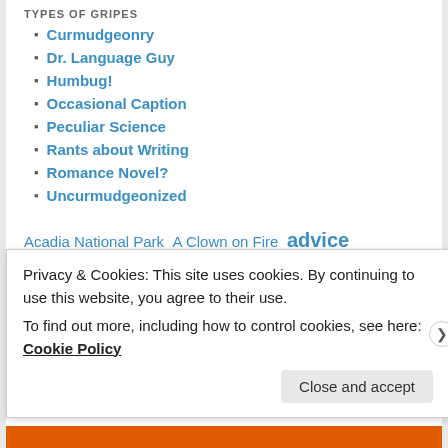TYPES OF GRIPES
Curmudgeonry
Dr. Language Guy
Humbug!
Occasional Caption
Peculiar Science
Rants about Writing
Romance Novel?
Uncurmudgeonized
Acadia National Park  A Clown on Fire  advice  animals  annoying people  art  babies  bad poetry  blogging  caption  Carrie Rubin  China  commentary
Privacy & Cookies: This site uses cookies. By continuing to use this website, you agree to their use.
To find out more, including how to control cookies, see here: Cookie Policy
Close and accept